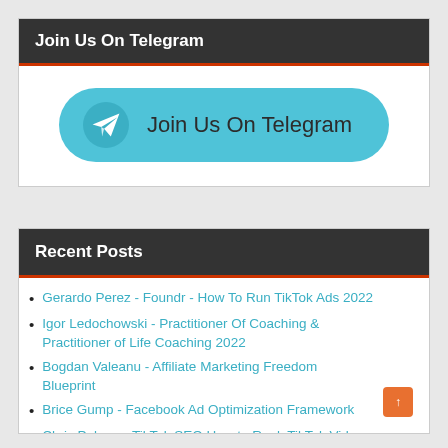Join Us On Telegram
[Figure (other): Telegram join button with airplane icon and text 'Join Us On Telegram' on a light blue rounded rectangle background]
Recent Posts
Gerardo Perez - Foundr - How To Run TikTok Ads 2022
Igor Ledochowski - Practitioner Of Coaching & Practitioner of Life Coaching 2022
Bogdan Valeanu - Affiliate Marketing Freedom Blueprint
Brice Gump - Facebook Ad Optimization Framework
Chris Palmer - TikTok SEO How to Rank TikTok Videos